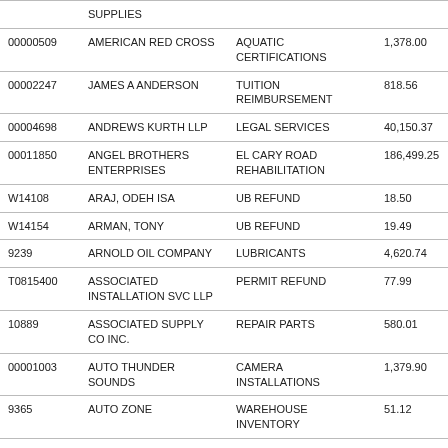|  | SUPPLIES |  |  |
| 00000509 | AMERICAN RED CROSS | AQUATIC CERTIFICATIONS | 1,378.00 |
| 00002247 | JAMES A ANDERSON | TUITION REIMBURSEMENT | 818.56 |
| 00004698 | ANDREWS KURTH LLP | LEGAL SERVICES | 40,150.37 |
| 00011850 | ANGEL BROTHERS ENTERPRISES | EL CARY ROAD REHABILITATION | 186,499.25 |
| W14108 | ARAJ, ODEH ISA | UB REFUND | 18.50 |
| W14154 | ARMAN, TONY | UB REFUND | 19.49 |
| 9239 | ARNOLD OIL COMPANY | LUBRICANTS | 4,620.74 |
| T0815400 | ASSOCIATED INSTALLATION SVC LLP | PERMIT REFUND | 77.99 |
| 10889 | ASSOCIATED SUPPLY CO INC. | REPAIR PARTS | 580.01 |
| 00001003 | AUTO THUNDER SOUNDS | CAMERA INSTALLATIONS | 1,379.90 |
| 9365 | AUTO ZONE | WAREHOUSE INVENTORY | 51.12 |
| 00030802 | AUTONATION FORD GULF FRWY | REPAIR PARTS | 5,027.83 |